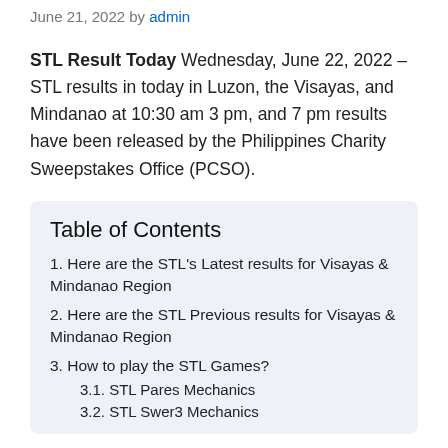June 21, 2022 by admin
STL Result Today Wednesday, June 22, 2022 – STL results in today in Luzon, the Visayas, and Mindanao at 10:30 am 3 pm, and 7 pm results have been released by the Philippines Charity Sweepstakes Office (PCSO).
Table of Contents
1. Here are the STL's Latest results for Visayas & Mindanao Region
2. Here are the STL Previous results for Visayas & Mindanao Region
3. How to play the STL Games?
3.1. STL Pares Mechanics
3.2. STL Swer3 Mechanics